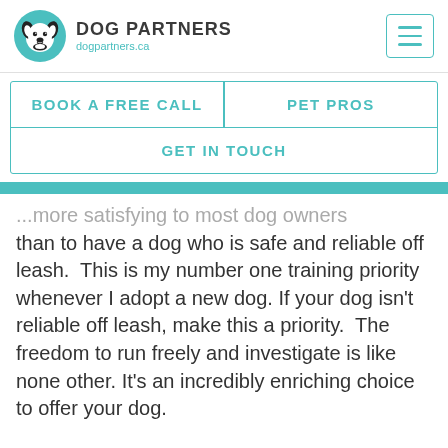[Figure (logo): Dog Partners logo: teal circle with cartoon dog face in black and white, next to bold text 'DOG PARTNERS' and URL 'dogpartners.ca']
BOOK A FREE CALL
PET PROS
GET IN TOUCH
...more satisfying to most dog owners than to have a dog who is safe and reliable off leash.  This is my number one training priority whenever I adopt a new dog. If your dog isn't reliable off leash, make this a priority.  The freedom to run freely and investigate is like none other. It's an incredibly enriching choice to offer your dog.